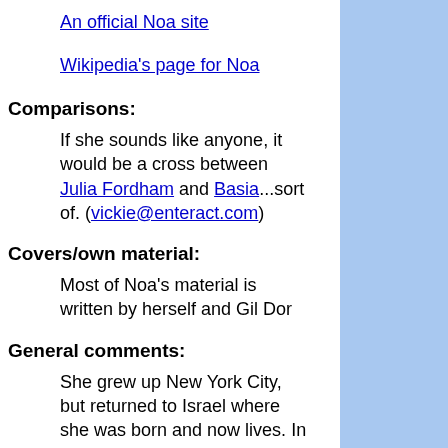An official Noa site
Wikipedia's page for Noa
Comparisons:
If she sounds like anyone, it would be a cross between Julia Fordham and Basia...sort of. (vickie@enteract.com)
Covers/own material:
Most of Noa's material is written by herself and Gil Dor
General comments:
She grew up New York City, but returned to Israel where she was born and now lives. In a word, she is wonderful. And her guitar player/accompanist/arranger/co-writer/tour partner, Gil Dor, is one of the hands-down best